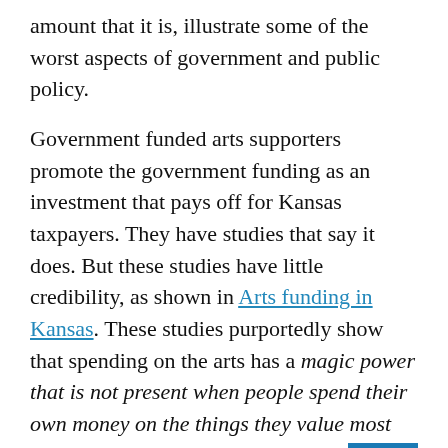amount that it is, illustrate some of the worst aspects of government and public policy.
Government funded arts supporters promote the government funding as an investment that pays off for Kansas taxpayers. They have studies that say it does. But these studies have little credibility, as shown in Arts funding in Kansas. These studies purportedly show that spending on the arts has a magic power that is not present when people spend their own money on the things they value most highly. But these studies, like most, rely on several economic fallacies. Henry Hazlitt writing in Economics in One Lesson, expla...